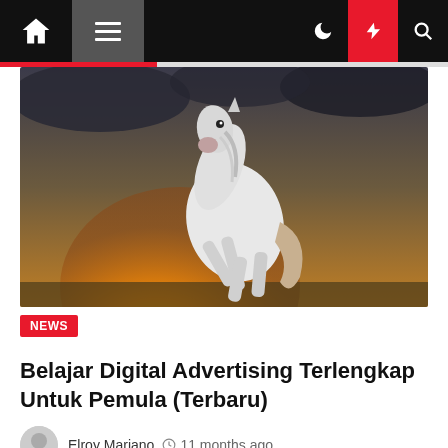Navigation bar with home, menu, dark mode, lightning, and search icons
[Figure (photo): A white horse rearing up against a dramatic golden sunset sky with dark clouds]
NEWS
Belajar Digital Advertising Terlengkap Untuk Pemula (Terbaru)
Elroy Mariano  11 months ago